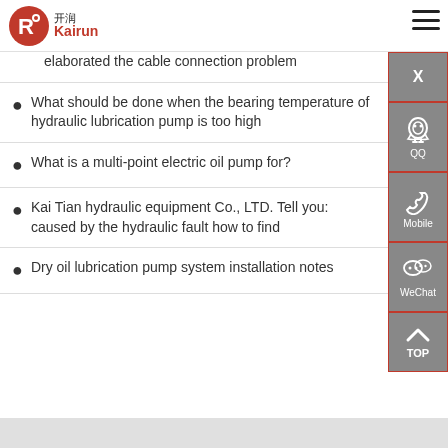Kairun 开润
elaborated the cable connection problem
What should be done when the bearing temperature of hydraulic lubrication pump is too high
What is a multi-point electric oil pump for?
Kai Tian hydraulic equipment Co., LTD. Tell you: caused by the hydraulic fault how to find
Dry oil lubrication pump system installation notes